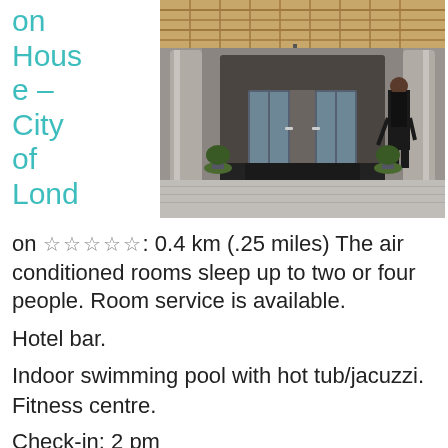on House – City of London
[Figure (photo): Hotel entrance with a doorman standing to the right, ornate ceiling overhang, large glass doors, columns, and potted plants]
on ☆☆☆☆☆: 0.4 km (.25 miles) The air conditioned rooms sleep up to two or four people. Room service is available.
Hotel bar.
Indoor swimming pool with hot tub/jacuzzi. Fitness centre.
Check-in: 2 pm
Check-out: 12 pm
22-25 Finsbury Square, City , Islington, London, EC2A 1DY, United Kingdom